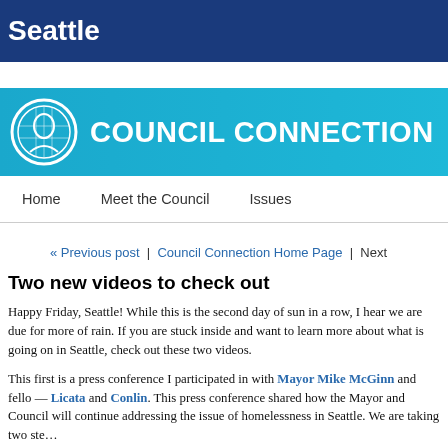Seattle
[Figure (logo): Seattle City Council Connection logo with teal banner and circular seal icon]
Home | Meet the Council | Issues
« Previous post  |  Council Connection Home Page  |  Next
Two new videos to check out
Happy Friday, Seattle! While this is the second day of sun in a row, I hear we are due for more of rain. If you are stuck inside and want to learn more about what is going on in Seattle, check out these two videos.
This first is a press conference I participated in with Mayor Mike McGinn and fell... Licata and Conlin. This press conference shared how the Mayor and Council will continue addressing the issue of homelessness in Seattle. We are taking two ste...